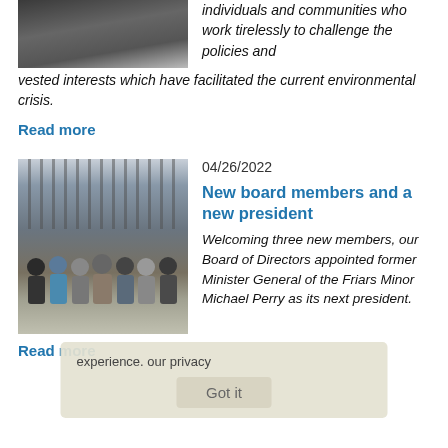[Figure (photo): Partial view of a photo showing people in dark clothing, cropped at top]
individuals and communities who work tirelessly to challenge the policies and vested interests which have facilitated the current environmental crisis.
Read more
04/26/2022
[Figure (photo): Group photo of approximately 10 people standing in front of a gate or fence building exterior]
New board members and a new president
Welcoming three new members, our Board of Directors appointed former Minister General of the Friars Minor Michael Perry as its next president.
Read more